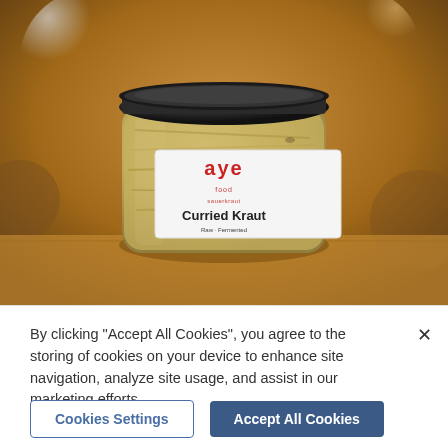[Figure (photo): A glass jar of 'aye Curried Kraut' sauerkraut product with a white label showing red and black text, sitting on a wooden surface. The jar has a black lid and contains shredded fermented cabbage.]
By clicking "Accept All Cookies", you agree to the storing of cookies on your device to enhance site navigation, analyze site usage, and assist in our marketing efforts.
Cookies Settings
Accept All Cookies